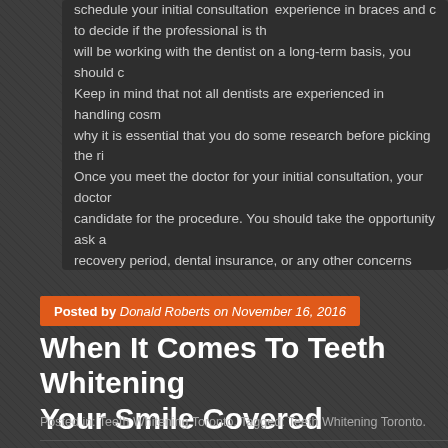experience in braces and c schedule your initial consultation to decide if the professional is th will be working with the dentist on a long-term basis, you should c Keep in mind that not all dentists are experienced in handling cosm why it is essential that you do some research before picking the ri Once you meet the doctor for your initial consultation, your doctor candidate for the procedure. You should take the opportunity ask a recovery period, dental insurance, or any other concerns you may ahead with the procedure, the dentist will take an impression of yo will design the custom aligner based on your personalized treatme weeks and see your doctor for an assessment of the progress. Yo short period of time thanks to invisible aligners.
Posted by Donald Roberts on November 16, 2016
When It Comes To Teeth Whitening Your Smile Covered
Posted in: Teeth Whitening Toronto. Tagged: Teeth Whitening Toronto.